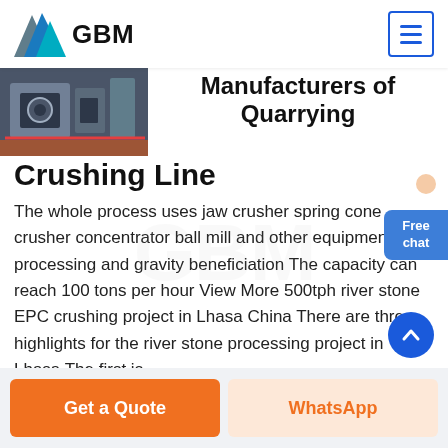GBM
[Figure (photo): Industrial machinery/equipment photo]
Manufacturers of Quarrying Crushing Line
The whole process uses jaw crusher spring cone crusher concentrator ball mill and other equipment for processing and gravity beneficiation The capacity can reach 100 tons per hour View More 500tph river stone EPC crushing project in Lhasa China There are three highlights for the river stone processing project in Lhasa The first is
[Figure (photo): Person with chat support illustration]
Free chat
Get a Quote   WhatsApp